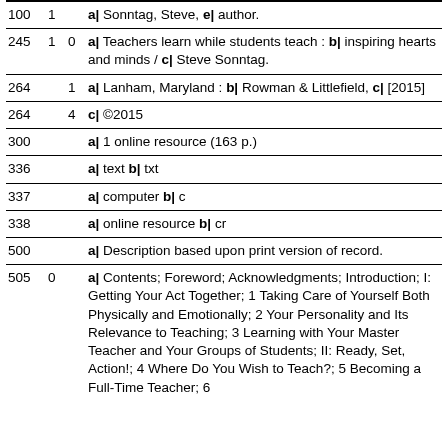| Field | Ind1 | Ind2 | Data |
| --- | --- | --- | --- |
| 100 | 1 |  | a| Sonntag, Steve, e| author. |
| 245 | 1 | 0 | a| Teachers learn while students teach : b| inspiring hearts and minds / c| Steve Sonntag. |
| 264 |  | 1 | a| Lanham, Maryland : b| Rowman & Littlefield, c| [2015] |
| 264 |  | 4 | c| ©2015 |
| 300 |  |  | a| 1 online resource (163 p.) |
| 336 |  |  | a| text b| txt |
| 337 |  |  | a| computer b| c |
| 338 |  |  | a| online resource b| cr |
| 500 |  |  | a| Description based upon print version of record. |
| 505 | 0 |  | a| Contents; Foreword; Acknowledgments; Introduction; I: Getting Your Act Together; 1 Taking Care of Yourself Both Physically and Emotionally; 2 Your Personality and Its Relevance to Teaching; 3 Learning with Your Master Teacher and Your Groups of Students; II: Ready, Set, Action!; 4 Where Do You Wish to Teach?; 5 Becoming a Full-Time Teacher; 6 |